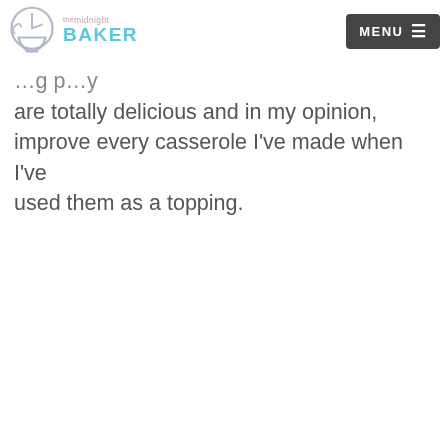The Midnight Baker — MENU
…are totally delicious and in my opinion, improve every casserole I've made when I've used them as a topping.